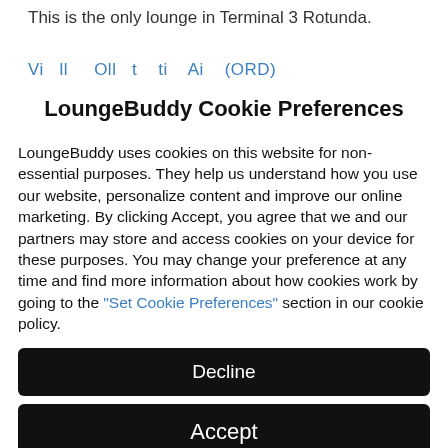This is the only lounge in Terminal 3 Rotunda.
Vi... ll... Oll... t... ti... Ai... (ORD)
LoungeBuddy Cookie Preferences
LoungeBuddy uses cookies on this website for non-essential purposes. They help us understand how you use our website, personalize content and improve our online marketing. By clicking Accept, you agree that we and our partners may store and access cookies on your device for these purposes. You may change your preference at any time and find more information about how cookies work by going to the "Set Cookie Preferences" section in our cookie policy.
Decline
Accept
Options